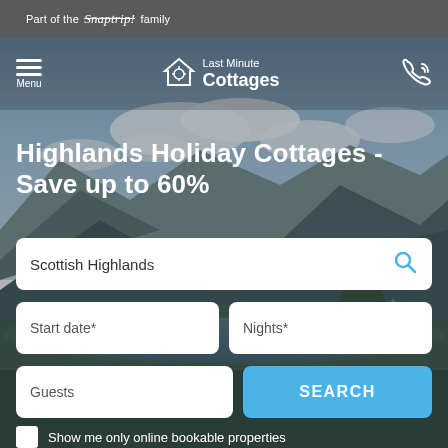Part of the Snaptrip! family
[Figure (screenshot): Navigation bar with hamburger menu, Last Minute Cottages logo with house icon, and phone icon]
[Figure (photo): Scottish Highlands landscape with mountains, lake and blue sky with clouds]
Highlands Holiday Cottages - Save up to 60%
Scottish Highlands (search input)
Start date*
Nights*
Guests
SEARCH
Show me only online bookable properties